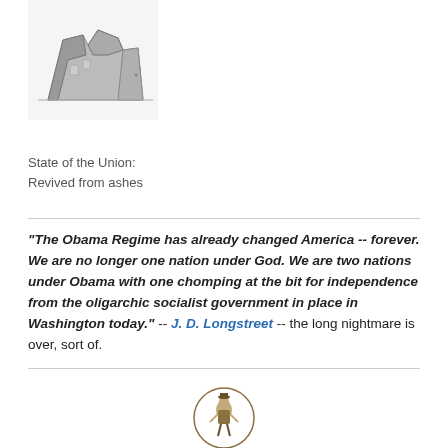[Figure (illustration): Black and white illustration of a ruined or destroyed building/structure]
State of the Union:
Revived from ashes
"The Obama Regime has already changed America -- forever. We are no longer one nation under God. We are two nations under Obama with one chomping at the bit for independence from the oligarchic socialist government in place in Washington today." -- J. D. Longstreet -- the long nightmare is over, sort of.
[Figure (logo): Gates of Vienna logo: circular text reading GATES OF VIENNA with an illustration of a figure in the center]